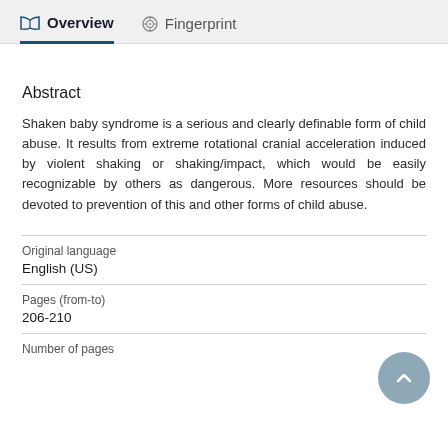Overview   Fingerprint
Abstract
Shaken baby syndrome is a serious and clearly definable form of child abuse. It results from extreme rotational cranial acceleration induced by violent shaking or shaking/impact, which would be easily recognizable by others as dangerous. More resources should be devoted to prevention of this and other forms of child abuse.
| Original language |  |
| English (US) |  |
| Pages (from-to) |  |
| 206-210 |  |
| Number of pages |  |